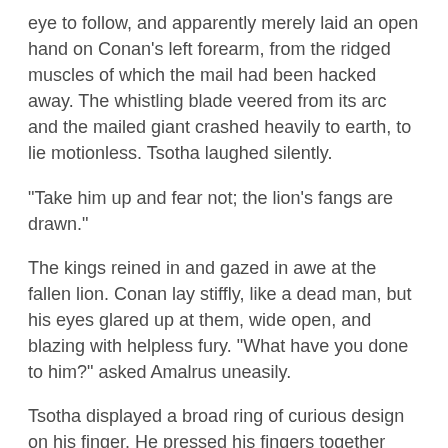eye to follow, and apparently merely laid an open hand on Conan's left forearm, from the ridged muscles of which the mail had been hacked away. The whistling blade veered from its arc and the mailed giant crashed heavily to earth, to lie motionless. Tsotha laughed silently.
"Take him up and fear not; the lion's fangs are drawn."
The kings reined in and gazed in awe at the fallen lion. Conan lay stiffly, like a dead man, but his eyes glared up at them, wide open, and blazing with helpless fury. "What have you done to him?" asked Amalrus uneasily.
Tsotha displayed a broad ring of curious design on his finger. He pressed his fingers together and on the inner side of the ring a tiny steel fang darted out like a snake's tongue.
"It is steeped in the juice of the purple lotus which grows in the ghosthaunted swamps of southern Stygia," said the magician. "Its touch produces temporary paralysis. Put him in chains and lay him in a chariot. The sun sets and it is time we were on the road for Khorshemish."